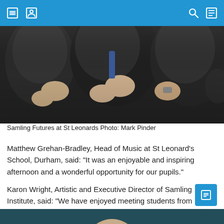Navigation header with icons
[Figure (photo): People in dark suits clapping hands at an event, photographed close up showing torsos and hands]
Samling Futures at St Leonards Photo: Mark Pinder
Matthew Grehan-Bradley, Head of Music at St Leonard's School, Durham, said: "It was an enjoyable and inspiring afternoon and a wonderful opportunity for our pupils."
Karon Wright, Artistic and Executive Director of Samling Institute, said: "We have enjoyed meeting students from Gateshead and Durham and sharing the opportunities and pathways we offer.
[Figure (photo): Partial photo visible at bottom of page showing a person against a blue/teal curtain background]